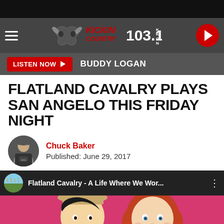[Figure (screenshot): Kickin Country 103.1 radio station website header with logo, hamburger menu, and play button]
[Figure (screenshot): Listen Now button with Buddy Logan text on dark bar]
FLATLAND CAVALRY PLAYS SAN ANGELO THIS FRIDAY NIGHT
Chuck Baker
Published: June 29, 2017
[Figure (screenshot): YouTube video thumbnail for Flatland Cavalry - A Life Where We Wor... showing illustrated cartoon of man and woman on pink background]